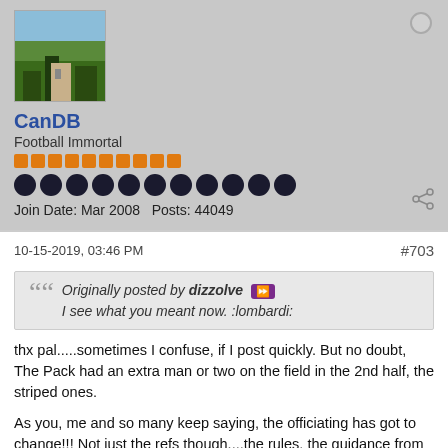[Figure (photo): Avatar photo of a landscape with trees and a building, light blue sky at top, green trees below]
CanDB
Football Immortal
Join Date: Mar 2008   Posts: 44049
10-15-2019, 03:46 PM
#703
Originally posted by dizzolve
I see what you meant now. :lombardi:
thx pal.....sometimes I confuse, if I post quickly. But no doubt, The Pack had an extra man or two on the field in the 2nd half, the striped ones.

As you, me and so many keep saying, the officiating has got to change!!! Not just the refs though....the rules, the guidance from the league, the purpose of the game. And I'll repeat with as much sensitivity as I have, given how important it is....safety has to be #1 priority, BUT, it's an excuse to lay it all on safety, because that's a cop out. Safety definitely should mean preventing players from taking direct hits to the head, or as a QB, to the legs while in passing stance. We all